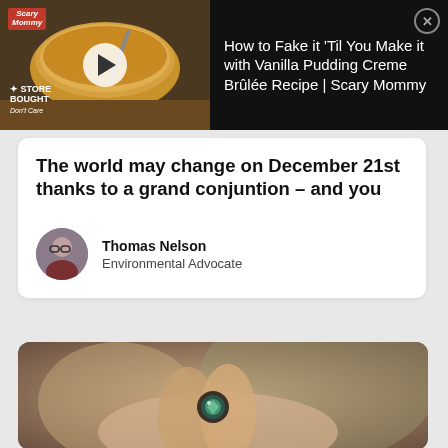[Figure (screenshot): Ad banner: Scary Mommy video thumbnail showing creme brulee with play button, logo and Store Bought Don't Care badge on dark background]
How to Fake it 'Til You Make it with Vanilla Pudding Creme Brûlée Recipe | Scary Mommy
The world may change on December 21st thanks to a grand conjuntion – and you
Thomas Nelson
Environmental Advocate
[Figure (photo): Close-up photo of a decorative ring or jewel held in a hand, blurred background, warm tones]